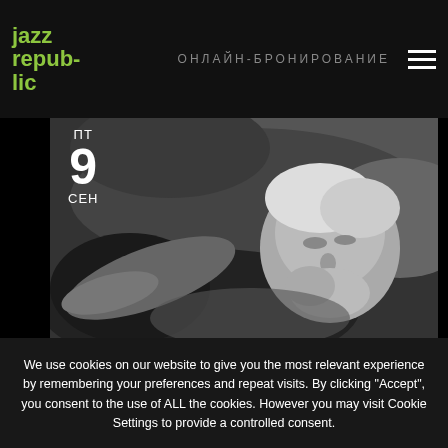jazz repub-lic | ОНЛАЙН-БРОНИРОВАНИЕ
[Figure (photo): Black and white photo of a man with grey hair and beard leaning forward, eyes closed, appearing to be a musician in performance. Date overlay shows ПТ 9 СЕН.]
We use cookies on our website to give you the most relevant experience by remembering your preferences and repeat visits. By clicking "Accept", you consent to the use of ALL the cookies. However you may visit Cookie Settings to provide a controlled consent.
Settings
Accept
You can refuse consent here.